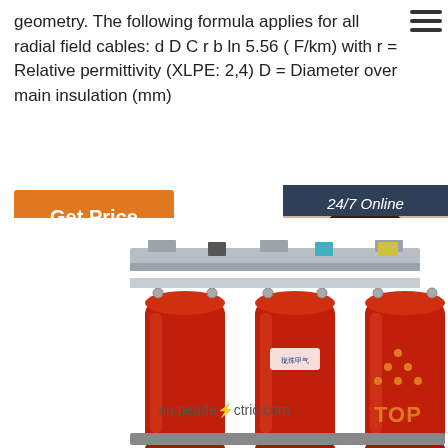geometry. The following formula applies for all radial field cables: d D C r b ln 5.56 ( F/km) with r = Relative permittivity (XLPE: 2,4) D = Diameter over main insulation (mm)
[Figure (photo): Person wearing headset at customer support, with '24/7 Online' label, 'Click here for free chat!' text, and QUOTATION button on dark blue background]
[Figure (photo): Three red cylindrical dry-type transformer cores mounted on a metal frame/busbar structure, with Pearl Electric branding visible]
en.pearlelectric.com